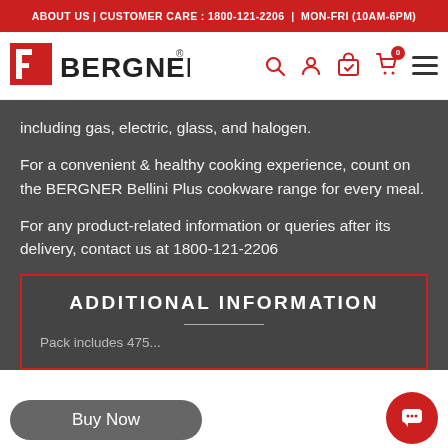ABOUT US | CUSTOMER CARE : 1800-121-2206 | MON-FRI (10AM-6PM)
[Figure (logo): Bergner logo with red F-shaped icon and bold BERGNER text with registered trademark symbol]
including gas, electric, glass, and halogen.
For a convenient & healthy cooking experience, count on the BERGNER Bellini Plus cookware range for every meal.
For any product-related information or queries after its delivery, contact us at 1800-121-2206
ADDITIONAL INFORMATION